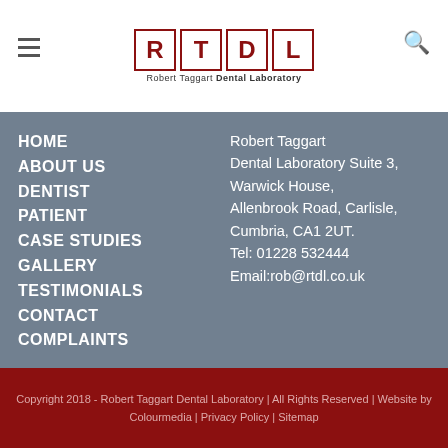[Figure (logo): RTDL Robert Taggart Dental Laboratory logo with four letter boxes R, T, D, L in red border]
HOME
ABOUT US
DENTIST
PATIENT
CASE STUDIES
GALLERY
TESTIMONIALS
CONTACT
COMPLAINTS
Robert Taggart Dental Laboratory Suite 3, Warwick House, Allenbrook Road, Carlisle, Cumbria, CA1 2UT. Tel: 01228 532444 Email:rob@rtdl.co.uk
Copyright 2018 - Robert Taggart Dental Laboratory | All Rights Reserved | Website by Colourmedia | Privacy Policy | Sitemap